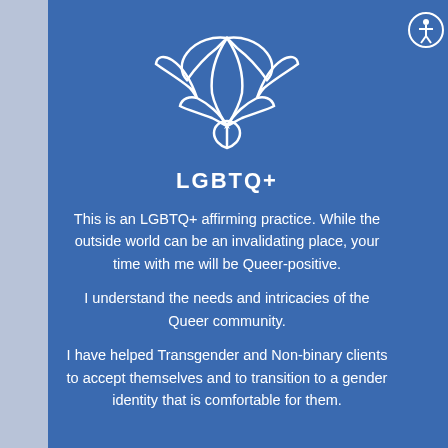[Figure (illustration): White outline lotus flower icon on blue background]
LGBTQ+
This is an LGBTQ+ affirming practice. While the outside world can be an invalidating place, your time with me will be Queer-positive.
I understand the needs and intricacies of the Queer community.
I have helped Transgender and Non-binary clients to accept themselves and to transition to a gender identity that is comfortable for them.